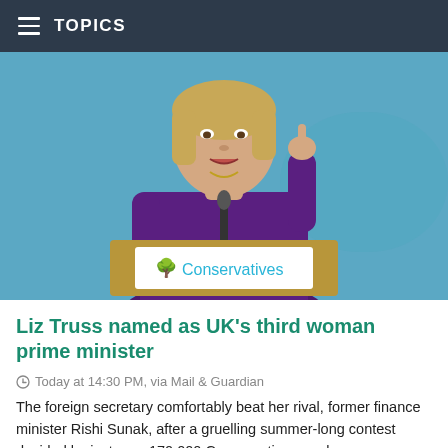TOPICS
[Figure (photo): Liz Truss speaking at a podium labelled 'Conservatives', wearing a purple outfit, pointing upward with one hand, against a blue background.]
Liz Truss named as UK's third woman prime minister
Today at 14:30 PM, via Mail & Guardian
The foreign secretary comfortably beat her rival, former finance minister Rishi Sunak, after a gruelling summer-long contest decided by just over 170 000 Conservative members